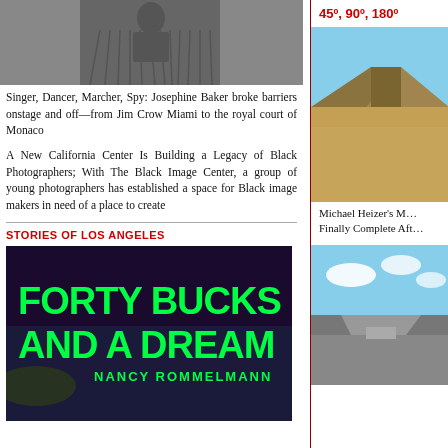[Figure (photo): Black and white photo showing a person in a fringed costume, likely Josephine Baker]
Singer, Dancer, Marcher, Spy: Josephine Baker broke barriers onstage and off—from Jim Crow Miami to the royal court of Monaco
A New California Center Is Building a Legacy of Black Photographers; With The Black Image Center, a group of young photographers has established a space for Black image makers in need of a place to create
STORIES OF LOS ANGELES
[Figure (photo): Book cover: FORTY BUCKS AND A DREAM by NANCY ROMMELMANN, dark purple background with green bold text]
45º, 90º, 180º
[Figure (photo): Desert landscape with large angular earthwork sculpture, Michael Heizer's art piece]
Michael Heizer's M… Finally Complete Aft…
[Figure (photo): Aerial or elevated view of a large earthwork or sculpture against blue sky]